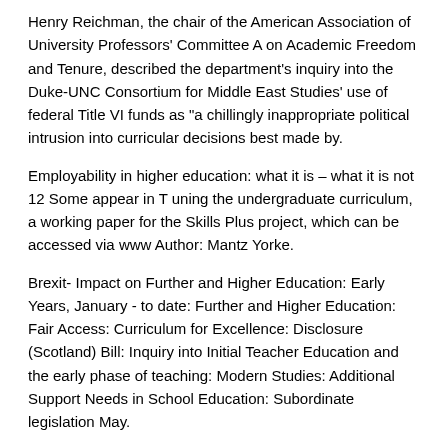Henry Reichman, the chair of the American Association of University Professors' Committee A on Academic Freedom and Tenure, described the department's inquiry into the Duke-UNC Consortium for Middle East Studies' use of federal Title VI funds as "a chillingly inappropriate political intrusion into curricular decisions best made by.
Employability in higher education: what it is – what it is not 12 Some appear in T uning the undergraduate curriculum, a working paper for the Skills Plus project, which can be accessed via www Author: Mantz Yorke.
Brexit- Impact on Further and Higher Education: Early Years, January - to date: Further and Higher Education: Fair Access: Curriculum for Excellence: Disclosure (Scotland) Bill: Inquiry into Initial Teacher Education and the early phase of teaching: Modern Studies: Additional Support Needs in School Education: Subordinate legislation May.
Coffield, F. and Vignoles, A. () 'Widening participation in higher education by ethnic minorities, women and alternative students' (Report 5) in National Committee of Inquiry into Higher Education, http://www.leeds.ac.uk/educol/ncihe/Report5.htm (accessed